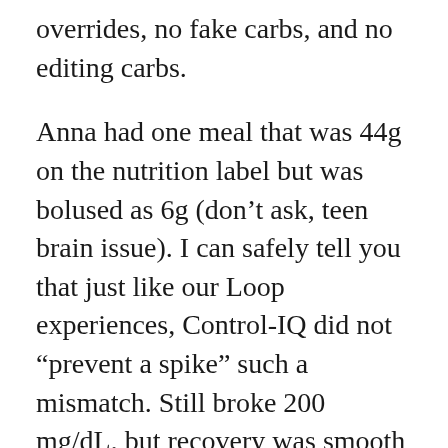overrides, no fake carbs, and no editing carbs.
Anna had one meal that was 44g on the nutrition label but was bolused as 6g (don't ask, teen brain issue). I can safely tell you that just like our Loop experiences, Control-IQ did not “prevent a spike” such a mismatch. Still broke 200 mg/dL, but recovery was smooth and all was fine in the end. Insulin is still slower than we’d all like (hello Afrezza...someday!) and carb counting is still needed.
Anna also had full hormonal shifts on both systems now. On Control-IQ, we saw some stubborn highs (just like we saw on Loop during similar times) that helped tip us off to